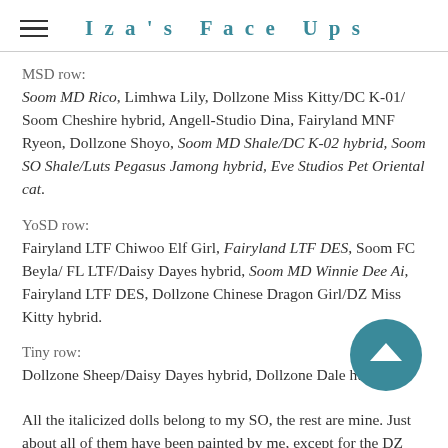Iza's Face Ups
MSD row:
Soom MD Rico, Limhwa Lily, Dollzone Miss Kitty/DC K-01/ Soom Cheshire hybrid, Angell-Studio Dina, Fairyland MNF Ryeon, Dollzone Shoyo, Soom MD Shale/DC K-02 hybrid, Soom SO Shale/Luts Pegasus Jamong hybrid, Eve Studios Pet Oriental cat.
YoSD row:
Fairyland LTF Chiwoo Elf Girl, Fairyland LTF DES, Soom FC Beyla/FL LTF/Daisy Dayes hybrid, Soom MD Winnie Dee Ai, Fairyland LTF DES, Dollzone Chinese Dragon Girl/DZ Miss Kitty hybrid.
Tiny row:
Dollzone Sheep/Daisy Dayes hybrid, Dollzone Dale hu...
All the italicized dolls belong to my SO, the rest are mine. Just about all of them have been painted by me, except for the DZ April (though I did add freckles to her default face up) and the